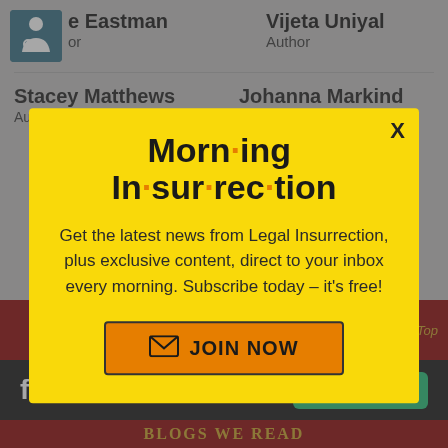e Eastman
Vijeta Uniyal
or
Author
Stacey Matthews
Johanna Markind
[Figure (infographic): Morning Insurrection newsletter popup modal with yellow background, bold stylized title 'Morn·ing In·sur·rec·tion', subscription text, and orange JOIN NOW button]
VIDEO OF THE DAY
Back to Top
fiverr
Start Now
BLOGS WE READ